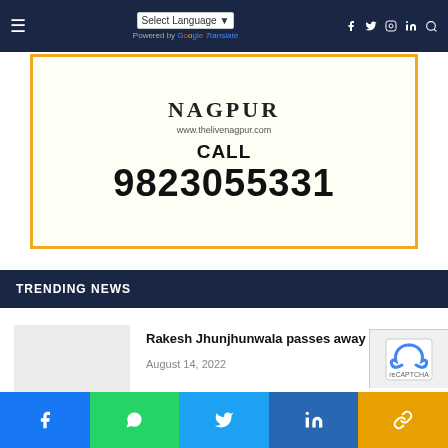≡  Select Language ▾  Powered by Google Translate  f  twitter  instagram  in  search
[Figure (other): Advertisement card with orange border showing 'NAGPUR', 'www.thelivenagpur.com', 'CALL', '9823055331']
TRENDING NEWS
[Figure (photo): Thumbnail placeholder (light grey rectangle) for news article]
Rakesh Jhunjhunwala passes away
August 14, 2022
f  WhatsApp  Twitter  in  Link